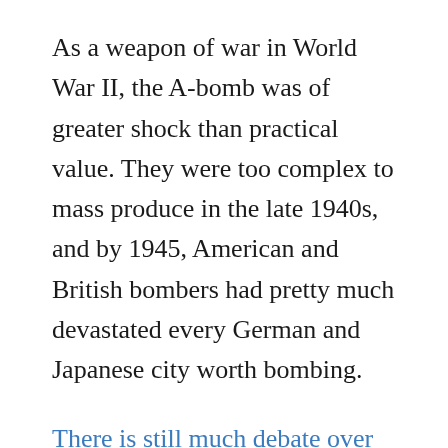As a weapon of war in World War II, the A-bomb was of greater shock than practical value. They were too complex to mass produce in the late 1940s, and by 1945, American and British bombers had pretty much devastated every German and Japanese city worth bombing.
There is still much debate over whether Hiroshima and Nagasaki convinced Japan to surrender, or whether the Soviet declaration of war was the final catalyst.
Nonetheless, in an era when radar and jet aircraft were considered the zenith of military technology, along came a weapon that could kill